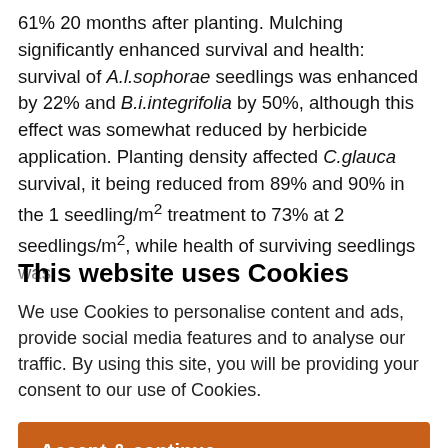61% 20 months after planting. Mulching significantly enhanced survival and health: survival of A.l.sophorae seedlings was enhanced by 22% and B.i.integrifolia by 50%, although this effect was somewhat reduced by herbicide application. Planting density affected C.glauca survival, it being reduced from 89% and 90% in the 1 seedling/m² treatment to 73% at 2 seedlings/m², while health of surviving seedlings was
This website uses Cookies
We use Cookies to personalise content and ads, provide social media features and to analyse our traffic. By using this site, you will be providing your consent to our use of Cookies.
Accept & continue